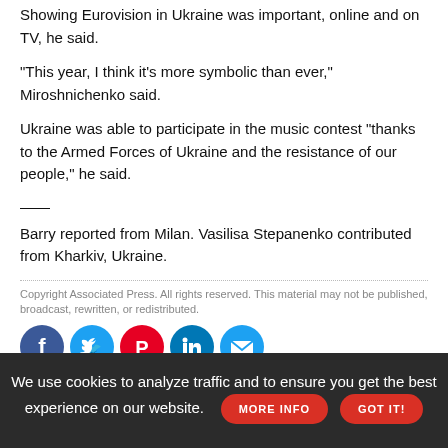Showing Eurovision in Ukraine was important, online and on TV, he said.
"This year, I think it's more symbolic than ever," Miroshnichenko said.
Ukraine was able to participate in the music contest "thanks to the Armed Forces of Ukraine and the resistance of our people," he said.
——
Barry reported from Milan. Vasilisa Stepanenko contributed from Kharkiv, Ukraine.
Copyright Associated Press. All rights reserved. This material may not be published, broadcast, rewritten, or redistributed.
[Figure (infographic): Social media sharing icons: Facebook, Twitter, Pinterest, LinkedIn, Email]
INSIDE EDGE
We use cookies to analyze traffic and to ensure you get the best experience on our website.